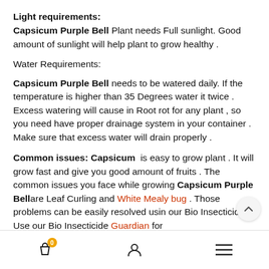Light requirements:
Capsicum Purple Bell Plant needs Full sunlight. Good amount of sunlight will help plant to grow healthy .
Water Requirements:
Capsicum Purple Bell needs to be watered daily. If the temperature is higher than 35 Degrees water it twice . Excess watering will cause in Root rot for any plant , so you need have proper drainage system in your container . Make sure that excess water will drain properly .
Common issues: Capsicum is easy to grow plant . It will grow fast and give you good amount of fruits . The common issues you face while growing Capsicum Purple Bell are Leaf Curling and White Mealy bug . Those problems can be easily resolved using our Bio Insecticides . Use our Bio Insecticide Guardian for
0  [user icon]  [menu icon]